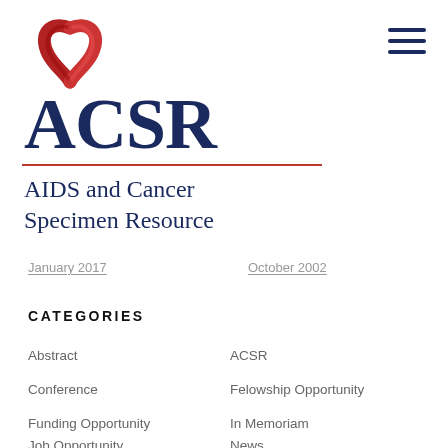[Figure (logo): ACSR logo with AIDS ribbon graphic, large ACSR text in dark navy, red horizontal rule, and subtitle 'AIDS and Cancer Specimen Resource' in dark navy serif font]
January 2017    October 2002
CATEGORIES
Abstract
ACSR
Conference
Felowship Opportunity
Funding Opportunity
In Memoriam
Job Opportunity
News